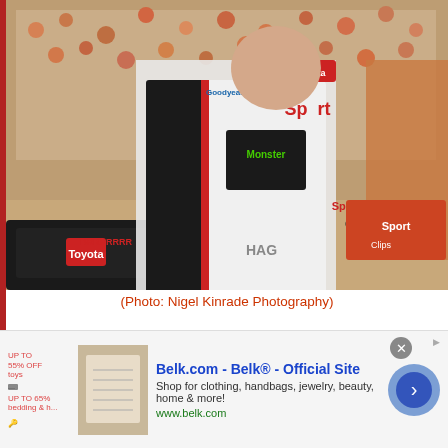[Figure (photo): NASCAR driver in white, black and red racing suit with Monster Energy and Toyota sponsorship logos, standing next to a car, crowd visible in background]
(Photo: Nigel Kinrade Photography)
This would've been easier before 2020. Back in the days of qualifying before every NASCAR race (remember those?), anyone approved by NASCAR could show up to a track on the national series schedule and try to put their car in the show. Whether they
[Figure (screenshot): Belk.com advertisement banner: 'Belk.com - Belk® - Official Site. Shop for clothing, handbags, jewelry, beauty, home & more! www.belk.com']